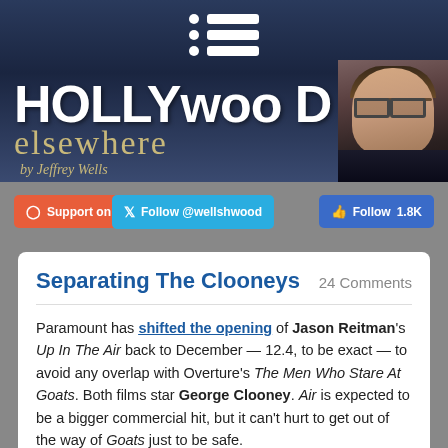[Figure (illustration): Hollywood Elsewhere blog banner with dark blue/night sky background showing Hollywood hills silhouette, large white 'HOLLYWOOD' text, gold italic 'elsewhere' text, 'by Jeffrey Wells' byline, and a photo of Jeffrey Wells (man with glasses and dark hair) in the upper right. A menu/list icon appears at the top center.]
Support on Patreon
Follow @wellshwood
Follow 1.8K
Separating The Clooneys
24 Comments
Paramount has shifted the opening of Jason Reitman's Up In The Air back to December — 12.4, to be exact — to avoid any overlap with Overture's The Men Who Stare At Goats. Both films star George Clooney. Air is expected to be a bigger commercial hit, but it can't hurt to get out of the way of Goats just to be safe.